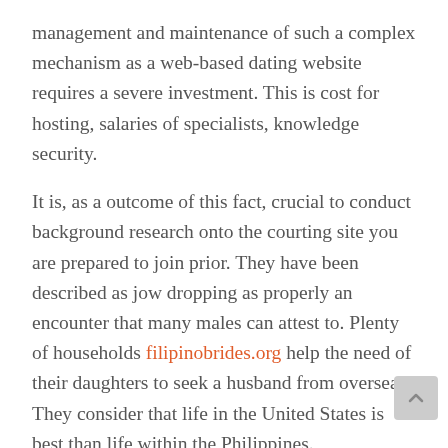management and maintenance of such a complex mechanism as a web-based dating website requires a severe investment. This is cost for hosting, salaries of specialists, knowledge security.
It is, as a outcome of this fact, crucial to conduct background research onto the courting site you are prepared to join prior. They have been described as jow dropping as properly an encounter that many males can attest to. Plenty of households filipinobrides.org help the need of their daughters to seek a husband from overseas. They consider that life in the United States is best than life within the Philippines.
The marriage license in the Philippines is valid for a hundred and twenty days from the date of problem. “Section 1, Article 38 of the Family Code prohibits marriage of family members as much as the fourth civil diploma .” Marriages should be solemnized publicly in a church, chapel, temple,